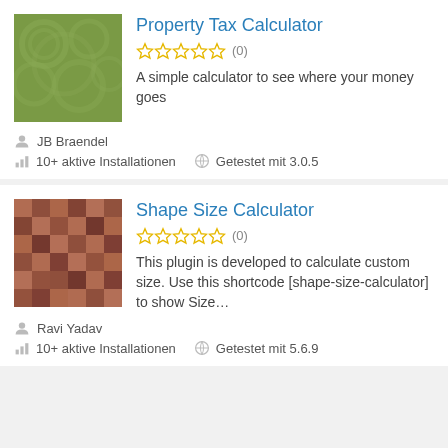[Figure (illustration): Green pixelated/decorative square thumbnail for Property Tax Calculator plugin]
Property Tax Calculator
☆☆☆☆☆ (0)
A simple calculator to see where your money goes
JB Braendel
10+ aktive Installationen    Getestet mit 3.0.5
[Figure (illustration): Brown pixelated/mosaic square thumbnail for Shape Size Calculator plugin]
Shape Size Calculator
☆☆☆☆☆ (0)
This plugin is developed to calculate custom size. Use this shortcode [shape-size-calculator] to show Size…
Ravi Yadav
10+ aktive Installationen    Getestet mit 5.6.9